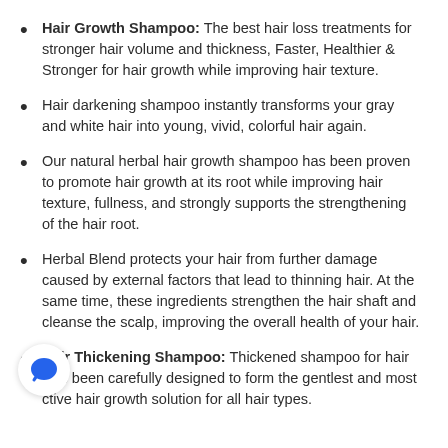Hair Growth Shampoo: The best hair loss treatments for stronger hair volume and thickness, Faster, Healthier & Stronger for hair growth while improving hair texture.
Hair darkening shampoo instantly transforms your gray and white hair into young, vivid, colorful hair again.
Our natural herbal hair growth shampoo has been proven to promote hair growth at its root while improving hair texture, fullness, and strongly supports the strengthening of the hair root.
Herbal Blend protects your hair from further damage caused by external factors that lead to thinning hair. At the same time, these ingredients strengthen the hair shaft and cleanse the scalp, improving the overall health of your hair.
Hair Thickening Shampoo: Thickened shampoo for hair loss been carefully designed to form the gentlest and most ctive hair growth solution for all hair types.